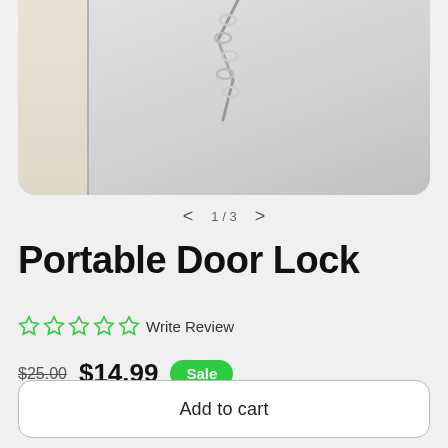[Figure (photo): Product photo showing a door chain lock on a door, partially cropped at bottom, with carousel navigation showing 1/3]
Portable Door Lock
☆☆☆☆☆ Write Review
$25.00  $14.99  Sale
Shipping calculated at checkout.
Add to cart